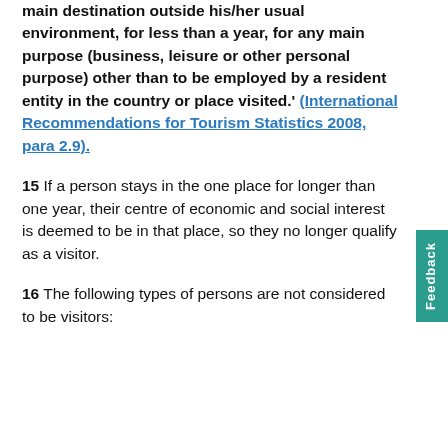main destination outside his/her usual environment, for less than a year, for any main purpose (business, leisure or other personal purpose) other than to be employed by a resident entity in the country or place visited.' (International Recommendations for Tourism Statistics 2008, para 2.9).
15 If a person stays in the one place for longer than one year, their centre of economic and social interest is deemed to be in that place, so they no longer qualify as a visitor.
16 The following types of persons are not considered to be visitors: